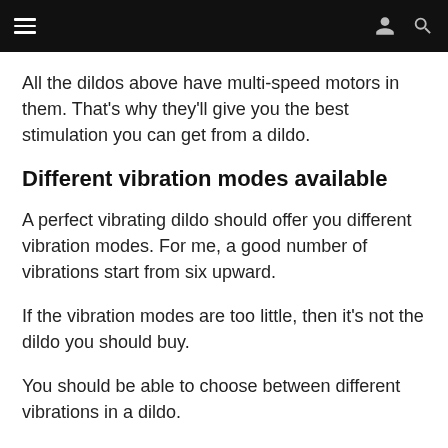≡  [user icon]  [search icon]
All the dildos above have multi-speed motors in them. That's why they'll give you the best stimulation you can get from a dildo.
Different vibration modes available
A perfect vibrating dildo should offer you different vibration modes. For me, a good number of vibrations start from six upward.
If the vibration modes are too little, then it's not the dildo you should buy.
You should be able to choose between different vibrations in a dildo.